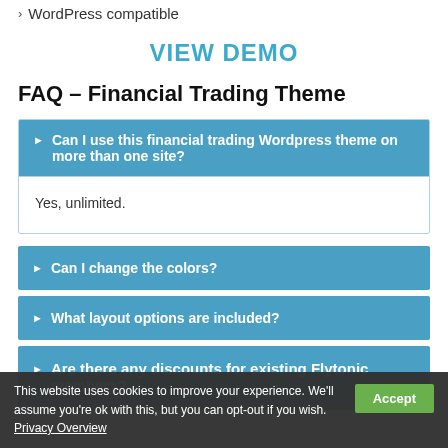WordPress compatible
VIEW DEMO
FAQ – Financial Trading Theme
Can I use this financial trading Wordpress theme on more than one site?
Yes, unlimited.
Can I change the colors?
What layout options are included?
Are there any discounts for existing Flytonic members?
This website uses cookies to improve your experience. We'll assume you're ok with this, but you can opt-out if you wish. Privacy Overview Accept